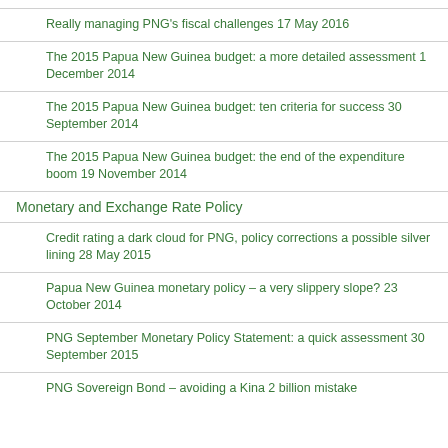Really managing PNG's fiscal challenges 17 May 2016
The 2015 Papua New Guinea budget: a more detailed assessment 1 December 2014
The 2015 Papua New Guinea budget: ten criteria for success 30 September 2014
The 2015 Papua New Guinea budget: the end of the expenditure boom 19 November 2014
Monetary and Exchange Rate Policy
Credit rating a dark cloud for PNG, policy corrections a possible silver lining 28 May 2015
Papua New Guinea monetary policy – a very slippery slope? 23 October 2014
PNG September Monetary Policy Statement: a quick assessment 30 September 2015
PNG Sovereign Bond – avoiding a Kina 2 billion mistake